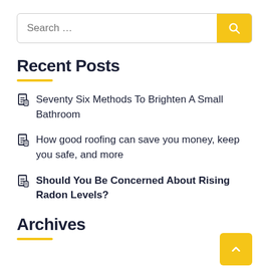Search …
Recent Posts
Seventy Six Methods To Brighten A Small Bathroom
How good roofing can save you money, keep you safe, and more
Should You Be Concerned About Rising Radon Levels?
Archives